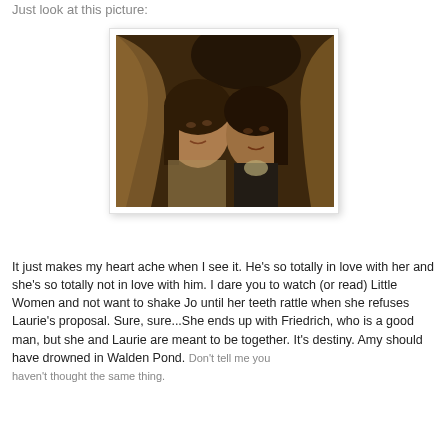Just look at this picture:
[Figure (photo): Two people posing close together, one leaning their head on the other's shoulder, in a dark, warm-toned scene reminiscent of a period drama film still (Little Women).]
It just makes my heart ache when I see it. He's so totally in love with her and she's so totally not in love with him. I dare you to watch (or read) Little Women and not want to shake Jo until her teeth rattle when she refuses Laurie's proposal. Sure, sure...She ends up with Friedrich, who is a good man, but she and Laurie are meant to be together. It's destiny. Amy should have drowned in Walden Pond. Don't tell me you haven't thought the same thing.